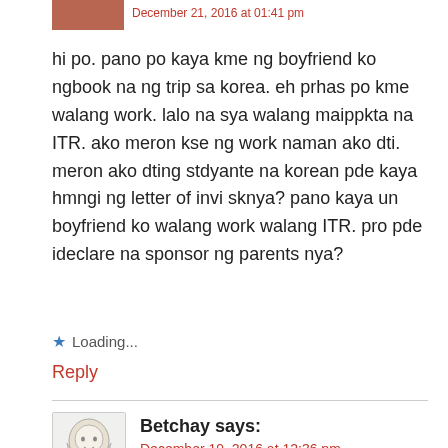hi po. pano po kaya kme ng boyfriend ko ngbook na ng trip sa korea. eh prhas po kme walang work. lalo na sya walang maippkta na ITR. ako meron kse ng work naman ako dti. meron ako dting stdyante na korean pde kaya hmngi ng letter of invi sknya? pano kaya un boyfriend ko walang work walang ITR. pro pde ideclare na sponsor ng parents nya?
Loading...
Reply
Betchay says:
December 19, 2016 at 12:36 pm